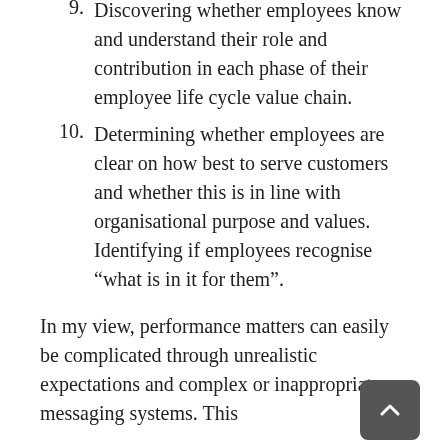9. Discovering whether employees know and understand their role and contribution in each phase of their employee life cycle value chain.
10. Determining whether employees are clear on how best to serve customers and whether this is in line with organisational purpose and values. Identifying if employees recognise "what is in it for them".
In my view, performance matters can easily be complicated through unrealistic expectations and complex or inappropriate messaging systems. This